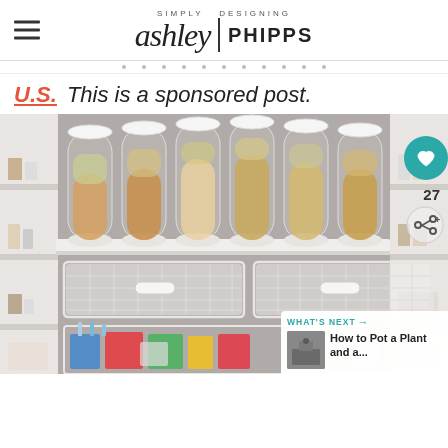Simply Designing | Ashley Phipps
U.S. This is a sponsored post.
[Figure (photo): Organized pantry shelves with tall clear cylindrical containers filled with various cereals and dry goods, and white mesh wire drawer baskets below. Social media UI overlays: heart button (teal), count 27, share icon, and 'What's Next: How to Pot a Plant and a...' thumbnail card.]